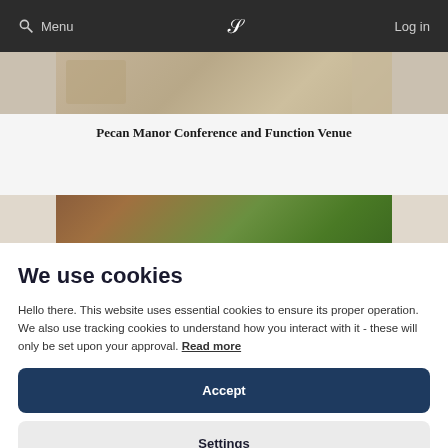Menu | [logo] | Log in
[Figure (photo): Partial photo strip of Pecan Manor Conference and Function Venue interior/exterior, showing wooden deck or structure]
Pecan Manor Conference and Function Venue
[Figure (photo): Partial photo strip showing outdoor/garden view with trees and vegetation]
We use cookies
Hello there. This website uses essential cookies to ensure its proper operation. We also use tracking cookies to understand how you interact with it - these will only be set upon your approval. Read more
Accept
Settings